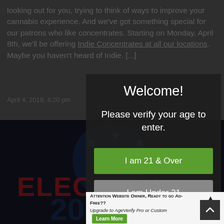looking out for you, trying to think of ways to improve your cannabis experience. And we've got something special for our patrons who like concentrates. Starting on Monday, April 8th, we'll be offering Indie Concentrates at all our locations. Maybe you haven't heard of Indie. [...]
April 4, 2019, 4:20 pm
[Figure (screenshot): Age verification modal overlay on a cannabis dispensary website, showing 'Welcome!' heading, 'Please verify your age to enter.' subtext, a green 'I am 21 & Over' button, and a gray 'I am Under 21' button, overlaid on a dark background with partial election imagery]
Attention Website Owner, Ready to go Ad-Free?? Upgrade to AgeVerify Pro or Custom
Learn More